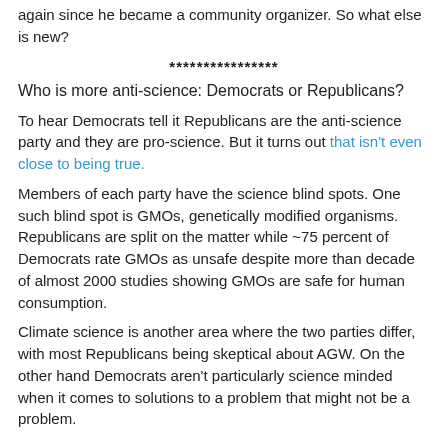again since he became a community organizer. So what else is new?
****************
Who is more anti-science: Democrats or Republicans?
To hear Democrats tell it Republicans are the anti-science party and they are pro-science. But it turns out that isn't even close to being true.
Members of each party have the science blind spots. One such blind spot is GMOs, genetically modified organisms. Republicans are split on the matter while ~75 percent of Democrats rate GMOs as unsafe despite more than decade of almost 2000 studies showing GMOs are safe for human consumption.
Climate science is another area where the two parties differ, with most Republicans being skeptical about AGW. On the other hand Democrats aren't particularly science minded when it comes to solutions to a problem that might not be a problem.